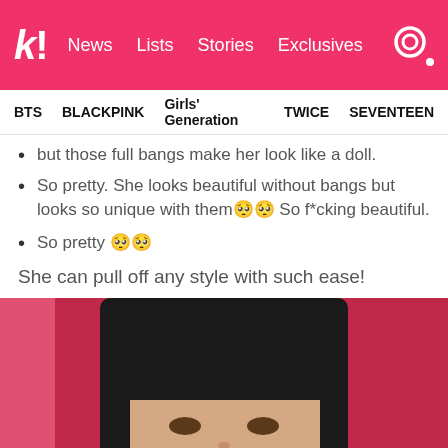k! News Lists Stories Exclusives
BTS BLACKPINK Girls' Generation TWICE SEVENTEEN
but those full bangs make her look like a doll.
So pretty. She looks beautiful without bangs but looks so unique with them🥺🥺 So f*cking beautiful.
So pretty 🥺🥺
She can pull off any style with such ease!
[Figure (photo): Close-up photo of a young woman with full black bangs and straight dark hair against a pink/red background]